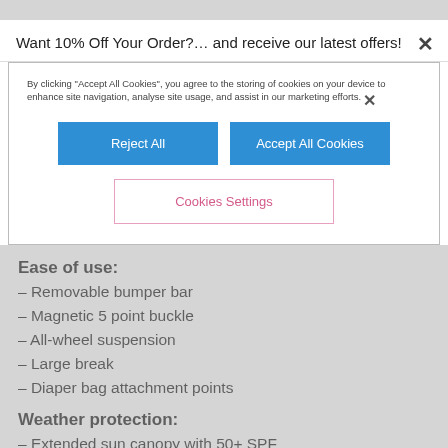Want 10% Off Your Order?… and receive our latest offers!
By clicking "Accept All Cookies", you agree to the storing of cookies on your device to enhance site navigation, analyse site usage, and assist in our marketing efforts.
Reject All
Accept All Cookies
Cookies Settings
Ease of use:
– Removable bumper bar
– Magnetic 5 point buckle
– All-wheel suspension
– Large break
– Diaper bag attachment points
Weather protection:
– Extended sun canopy with 50+ SPF
– 600D water-resistant fabrics
High-quality materials: